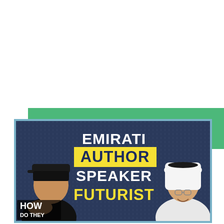[Figure (other): Green button with white text reading CHECK OUT MY PODCAST]
[Figure (illustration): Podcast thumbnail image with dark blue background, two people (one in casual wear with cap, one in traditional Emirati dress), and bold text reading EMIRATI AUTHOR SPEAKER FUTURIST with HOW DO THEY logo in lower left]